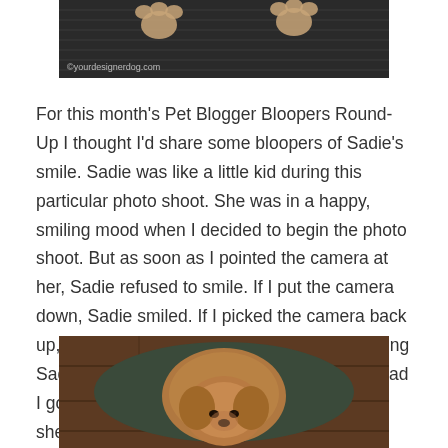[Figure (photo): Top portion of a photo showing dog paw prints on a dark mat, with watermark 'yourdesignerdog.com']
For this month's Pet Blogger Bloopers Round-Up I thought I'd share some bloopers of Sadie's smile. Sadie was like a little kid during this particular photo shoot. She was in a happy, smiling mood when I decided to begin the photo shoot. But as soon as I pointed the camera at her, Sadie refused to smile. If I put the camera down, Sadie smiled. If I picked the camera back up, Sadie stopped smiling. Then I started asking Sadie nicely to smile for the camera and instead I got funny faces. When I said “please smile”, she stuck her tongue out at me!
[Figure (photo): Bottom portion of a photo showing a small fluffy dog (Sadie) lying on a dark mat, viewed from above, with wooden floor visible in background]